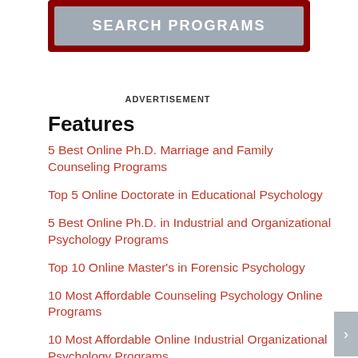[Figure (screenshot): Search Programs button with dark red border and grey button]
ADVERTISEMENT
Features
5 Best Online Ph.D. Marriage and Family Counseling Programs
Top 5 Online Doctorate in Educational Psychology
5 Best Online Ph.D. in Industrial and Organizational Psychology Programs
Top 10 Online Master's in Forensic Psychology
10 Most Affordable Counseling Psychology Online Programs
10 Most Affordable Online Industrial Organizational Psychology Programs
10 Most Affordable Online Developmental Psychology Online Programs